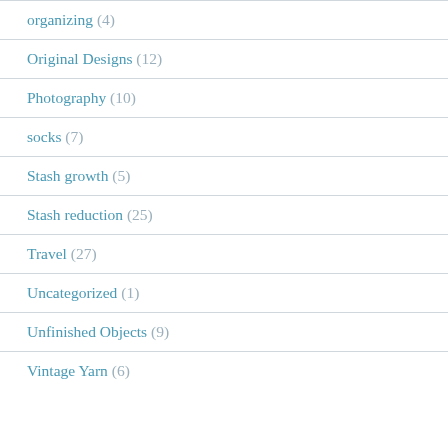organizing (4)
Original Designs (12)
Photography (10)
socks (7)
Stash growth (5)
Stash reduction (25)
Travel (27)
Uncategorized (1)
Unfinished Objects (9)
Vintage Yarn (6)